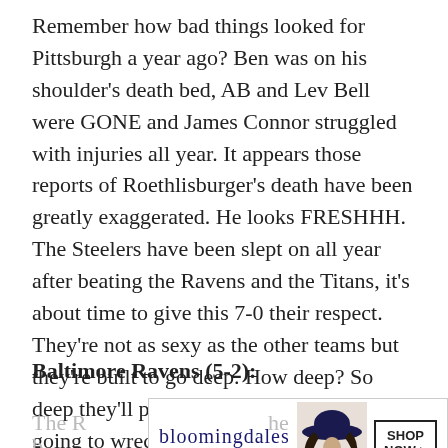Remember how bad things looked for Pittsburgh a year ago? Ben was on his shoulder's death bed, AB and Lev Bell were GONE and James Connor struggled with injuries all year. It appears those reports of Roethlisburger's death have been greatly exaggerated. He looks FRESHHH. The Steelers have been slept on all year after beating the Ravens and the Titans, it's about time to give this 7-0 their respect. They're not as sexy as the other teams but they're built to go deep. How deep? So deep they'll put her ass to sleep. They're going to wreck shit until they see Mahomes.
Baltimore Ravens (5-2):
[Figure (other): Bloomingdale's advertisement banner with logo, tagline 'View Today's Top Deals!', image of woman in wide-brim hat, and 'SHOP NOW >' button]
The R... he b...